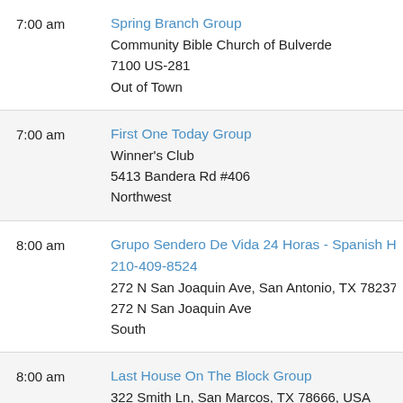7:00 am | Spring Branch Group | Community Bible Church of Bulverde | 7100 US-281 | Out of Town
7:00 am | First One Today Group | Winner's Club | 5413 Bandera Rd #406 | Northwest
8:00 am | Grupo Sendero De Vida 24 Horas - Spanish Helpli 210-409-8524 | 272 N San Joaquin Ave, San Antonio, TX 78237, U | 272 N San Joaquin Ave | South
8:00 am | Last House On The Block Group | 322 Smith Ln, San Marcos, TX 78666, USA | 322 Smith Ln | Out of Town